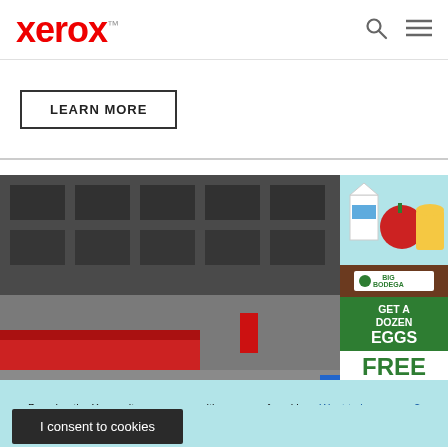xerox™
LEARN MORE
[Figure (photo): Street scene with building facade, red awning, and a Big Bodega grocery advertisement overlay on the right side showing 'GET A DOZEN EGGS FREE WHEN YOU SHOP FOR']
By using the Xerox site, you agree with our use of cookies. Want to know more?
I consent to cookies
Explore new opportunities in the world of colour